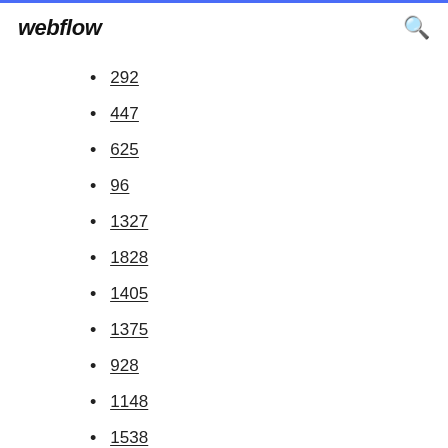webflow
292
447
625
96
1327
1828
1405
1375
928
1148
1538
184